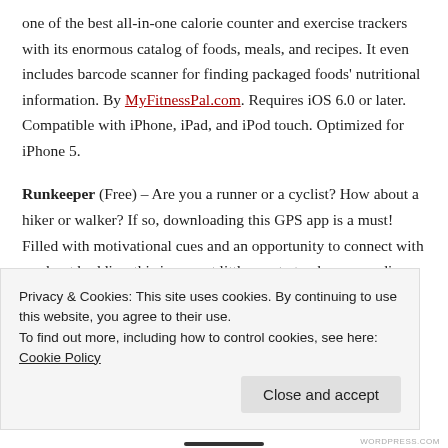one of the best all-in-one calorie counter and exercise trackers with its enormous catalog of foods, meals, and recipes. It even includes barcode scanner for finding packaged foods' nutritional information. By MyFitnessPal.com. Requires iOS 6.0 or later. Compatible with iPhone, iPad, and iPod touch. Optimized for iPhone 5.
Runkeeper (Free) – Are you a runner or a cyclist? How about a hiker or walker? If so, downloading this GPS app is a must! Filled with motivational cues and an opportunity to connect with workout buddies, this is a great little app to track your cardio. See detailed stats around your pace, distance, and time plus get
Privacy & Cookies: This site uses cookies. By continuing to use this website, you agree to their use.
To find out more, including how to control cookies, see here: Cookie Policy
Close and accept